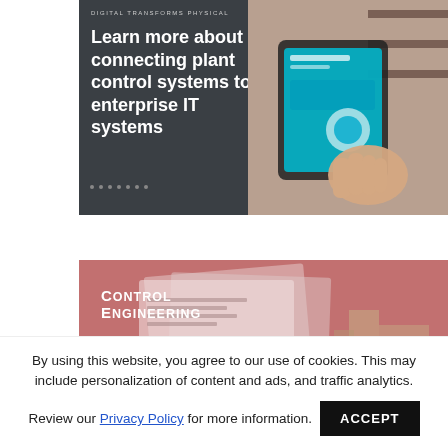[Figure (illustration): Advertisement banner with dark gray background, green diagonal slash, white bold text 'Learn more about connecting plant control systems to enterprise IT systems', tagline 'DIGITAL TRANSFORMS PHYSICAL', and photo of hand using tablet with industrial automation interface]
[Figure (illustration): Control Engineering magazine advertisement with pink/red toned background showing document pages and industrial equipment, logo 'CONTROL ENGINEERING' in top left, large bold italic white text 'Designing' at bottom]
By using this website, you agree to our use of cookies. This may include personalization of content and ads, and traffic analytics. Review our Privacy Policy for more information.